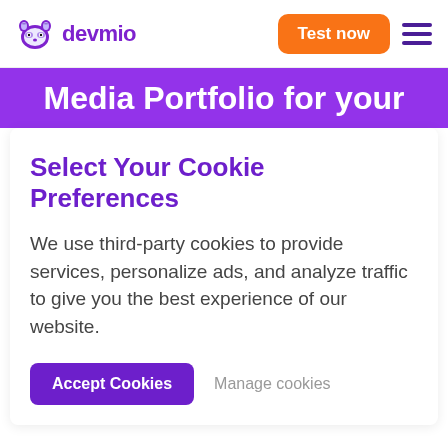devmio — Test now
Media Portfolio for your
Select Your Cookie Preferences
We use third-party cookies to provide services, personalize ads, and analyze traffic to give you the best experience of our website.
Accept Cookies
Manage cookies